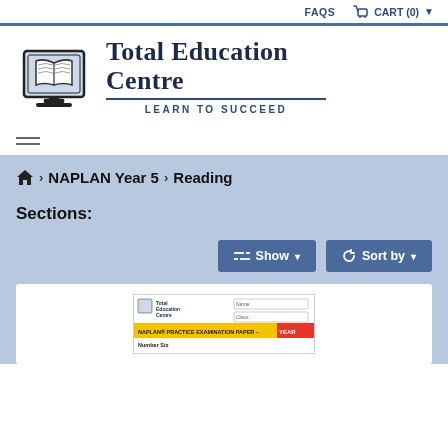FAQS   CART (0)
[Figure (logo): Total Education Centre logo with open book on monitor screen icon and text 'Total Education Centre - LEARN TO SUCCEED']
≡ (hamburger menu)
🏠 › NAPLAN Year 5 › Reading
Sections:
⇄ Show ∨
↻ Sort by ∨
[Figure (screenshot): Product thumbnail showing Total Education Centre NAPLAN Practice Examination Paper - Number Six cover]